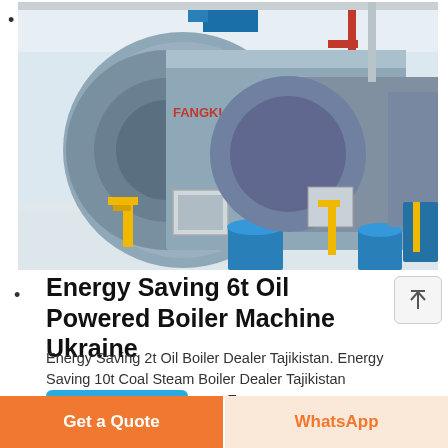[Figure (photo): Industrial boiler machines in a factory setting — large cylindrical steel boilers with blue bases, yellow gas pipes, and red piping overhead, brand label 'FANGKUAI' visible on the front boiler.]
Energy Saving 6t Oil Powered Boiler Machine Ukraine
Energy Saving 2t Oil Boiler Dealer Tajikistan. Energy Saving 10t Coal Steam Boiler Dealer Tajikistan Conventional Oil Boilers vs. Energy...
Learn More
Get a Quote
WhatsApp